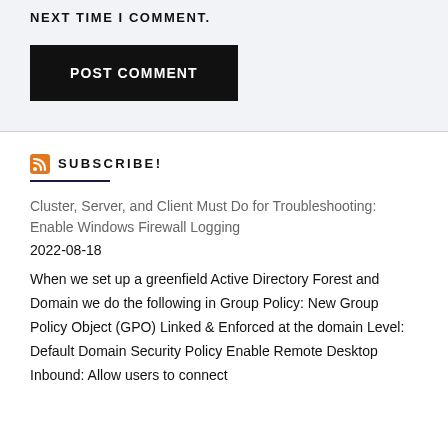NEXT TIME I COMMENT.
POST COMMENT
SUBSCRIBE!
Cluster, Server, and Client Must Do for Troubleshooting: Enable Windows Firewall Logging
2022-08-18
When we set up a greenfield Active Directory Forest and Domain we do the following in Group Policy: New Group Policy Object (GPO) Linked & Enforced at the domain Level: Default Domain Security Policy Enable Remote Desktop Inbound: Allow users to connect